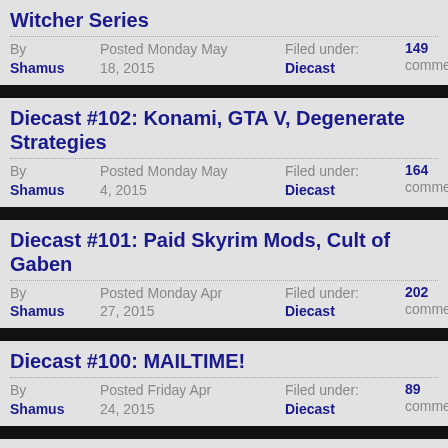Witcher Series
By Shamus | Posted Monday May 18, 2015 | Filed under: Diecast | 149 comments
Diecast #102: Konami, GTA V, Degenerate Strategies
By Shamus | Posted Monday May 4, 2015 | Filed under: Diecast | 164 comments
Diecast #101: Paid Skyrim Mods, Cult of Gaben
By Shamus | Posted Monday Apr 27, 2015 | Filed under: Diecast | 202 comments
Diecast #100: MAILTIME!
By Shamus | Posted Friday Apr 24, 2015 | Filed under: Diecast | 89 comments
Diecast #100: Alignment, Batman v. Superman, Star Wars, Mortal Kombat